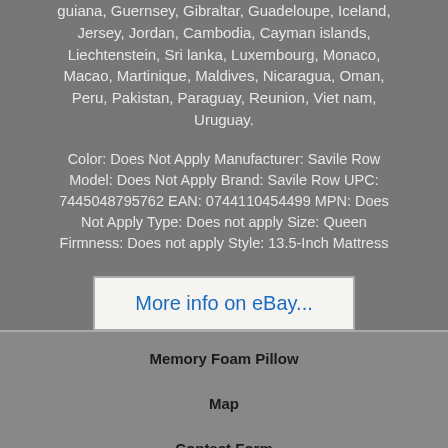guiana, Guernsey, Gibraltar, Guadeloupe, Iceland, Jersey, Jordan, Cambodia, Cayman islands, Liechtenstein, Sri lanka, Luxembourg, Monaco, Macao, Martinique, Maldives, Nicaragua, Oman, Peru, Pakistan, Paraguay, Reunion, Viet nam, Uruguay.
Color: Does Not Apply Manufacturer: Savile Row Model: Does Not Apply Brand: Savile Row UPC: 7445048795762 EAN: 0744110454499 MPN: Does Not Apply Type: Does not apply Size: Queen Firmness: Does not apply Style: 13.5-Inch Mattress
[Figure (screenshot): eBay button with text 'More info on eBay...' on a light background with border]
Memory Foam Pillow
Map
Contact Form